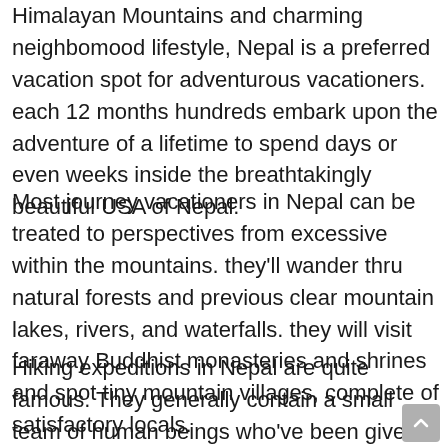Himalayan Mountains and charming neighbomood lifestyle, Nepal is a preferred vacation spot for adventurous vacationers. each 12 months hundreds embark upon the adventure of a lifetime to spend days or even weeks inside the breathtakingly beautiful USA of Nepal.
Most journey vacationers in Nepal can be treated to perspectives from excessive within the mountains. they'll wander thru natural forests and previous clear mountain lakes, rivers, and waterfalls. they will visit faraway Buddhist monasteries and shrines and spot tiny mountain villages, complete of satisfactory locals.
Hiking expeditions in Nepal are quite famous. They generally contain a small team of human beings who've been given a listing of equipment, together with trekking boots, to deliver with them to Nepal, even the experience on the cost of